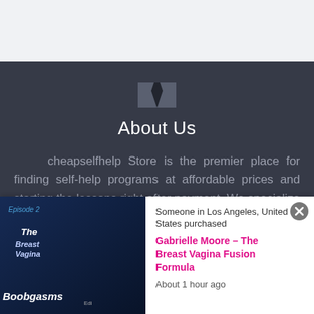[Figure (other): Top navigation bar area, light gray background]
[Figure (logo): Tie icon in gray box on dark background]
About Us
cheapselfhelp Store is the premier place for finding self-help programs at affordable prices and starting the lessons right after payment. We specialize in providing the best self-help products for our customers. Discreetness is our middle name.
[Figure (screenshot): Notification popup: product thumbnail image on left showing Episode 2 The Breast Vagina book cover with Boobgasms text]
Someone in Los Angeles, United States purchased
Gabrielle Moore – The Breast Vagina Fusion Formula
About 1 hour ago